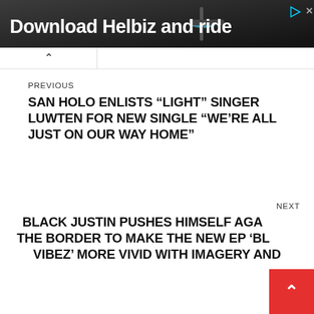[Figure (screenshot): Advertisement banner with dark background showing a scooter handlebar, with text 'Download Helbiz and ride' in white bold font. Play and close icons in top right corner.]
^
PREVIOUS
SAN HOLO ENLISTS “LIGHT” SINGER LUWTEN FOR NEW SINGLE “WE’RE ALL JUST ON OUR WAY HOME”
NEXT
BLACK JUSTIN PUSHES HIMSELF AGAIN THE BORDER TO MAKE THE NEW EP ‘BL VIBEZ’ MORE VIVID WITH IMAGERY AND